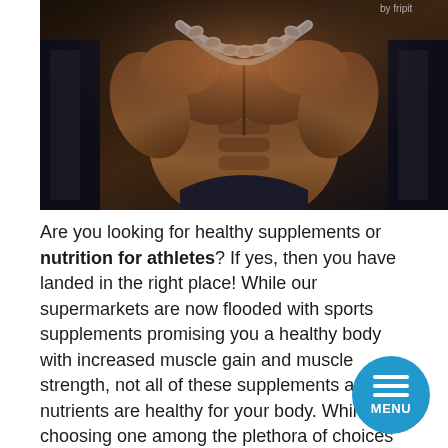[Figure (photo): A muscular shirtless athlete wearing chains around their neck, photographed from front in a dark gym setting, with text 'by fripit' in top right corner.]
Are you looking for healthy supplements or nutrition for athletes? If yes, then you have landed in the right place! While our supermarkets are now flooded with sports supplements promising you a healthy body with increased muscle gain and muscle strength, not all of these supplements and nutrients are healthy for your body. While choosing one among the plethora of choices can be confusing, there are certain nutrients and supplements you can always bank on to give you the best results.